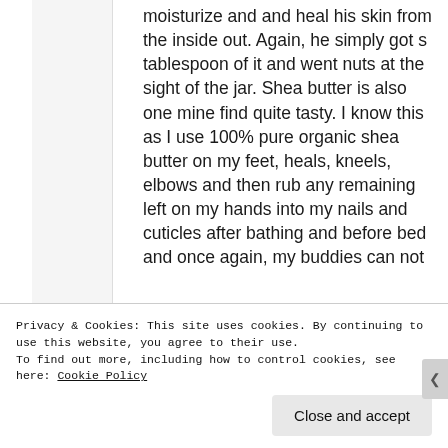moisturize and and heal his skin from the inside out. Again, he simply got s tablespoon of it and went nuts at the sight of the jar. Shea butter is also one mine find quite tasty. I know this as I use 100% pure organic shea butter on my feet, heals, kneels, elbows and then rub any remaining left on my hands into my nails and cuticles after bathing and before bed and once again, my buddies can not
Privacy & Cookies: This site uses cookies. By continuing to use this website, you agree to their use.
To find out more, including how to control cookies, see here: Cookie Policy